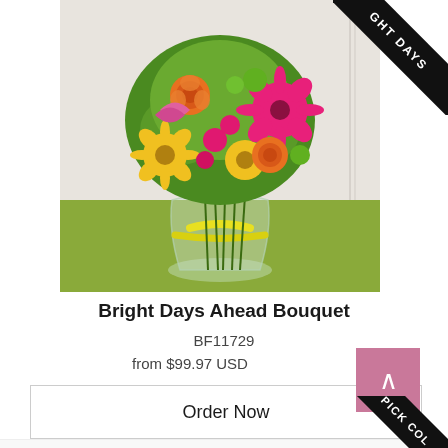[Figure (photo): Bright colorful flower bouquet in a glass vase with yellow ribbon on a green surface, with a black diagonal ribbon banner in top-right corner showing 'BRIGHT DAYS']
Bright Days Ahead Bouquet
BF11729
from $99.97 USD
Order Now
[Figure (photo): Partial view of red roses arrangement with a black diagonal ribbon banner in top-right corner showing 'PICK COL']